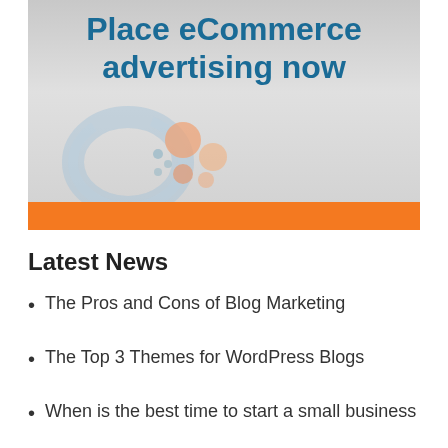[Figure (illustration): eCommerce advertising banner with gradient silver background, bold blue text reading 'Place eCommerce advertising now', an orange bar at the bottom, and a stylized logo with circular shapes in light blue and orange]
Latest News
The Pros and Cons of Blog Marketing
The Top 3 Themes for WordPress Blogs
When is the best time to start a small business
How Do People Make Mon...